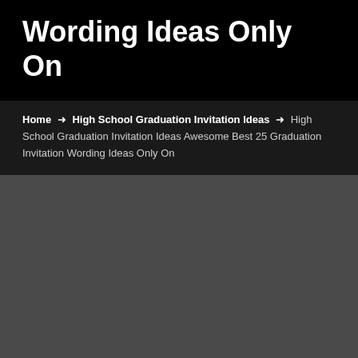Wording Ideas Only On
Home → High School Graduation Invitation Ideas → High School Graduation Invitation Ideas Awesome Best 25 Graduation Invitation Wording Ideas Only On